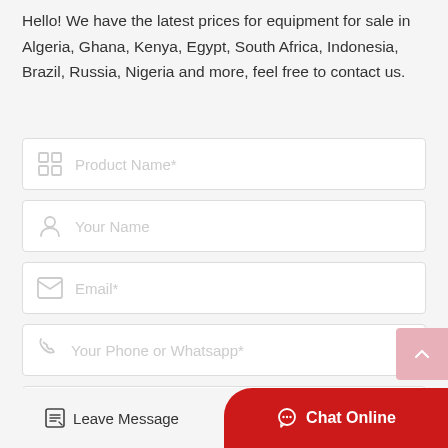Hello! We have the latest prices for equipment for sale in Algeria, Ghana, Kenya, Egypt, South Africa, Indonesia, Brazil, Russia, Nigeria and more, feel free to contact us.
[Figure (screenshot): Contact form with fields: Product Name*, Your Name, Email*, Your Phone or Whatsapp*, and a partially visible last field. Each field has an icon on the left and placeholder text.]
Leave Message
Chat Online